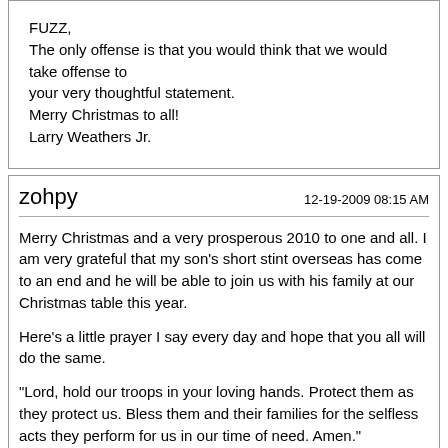FUZZ,
The only offense is that you would think that we would take offense to your very thoughtful statement.
Merry Christmas to all!
Larry Weathers Jr.
zohpy
12-19-2009 08:15 AM

Merry Christmas and a very prosperous 2010 to one and all. I am very grateful that my son's short stint overseas has come to an end and he will be able to join us with his family at our Christmas table this year.

Here's a little prayer I say every day and hope that you all will do the same.

"Lord, hold our troops in your loving hands. Protect them as they protect us. Bless them and their families for the selfless acts they perform for us in our time of need. Amen."

Once again Merry Christmas to all.

Zo
MARV
12-19-2009 08:50 AM

Fuzz, if anyone takes offense to haveing been greeted "Merry